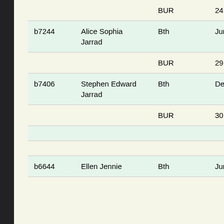| ID | Name | Type | Date |
| --- | --- | --- | --- |
|  |  | BUR | 24 May 1890 |
| b7244 | Alice Sophia Jarrad | Bth | Jun 1887 |
|  |  | BUR | 29 May 1890 |
| b7406 | Stephen Edward Jarrad | Bth | Dec 1889 |
|  |  | BUR | 30 Apr 1890 |
|  |  |  |  |
|  |  |  |  |
| b6644 | Ellen Jennie | Bth | Jun 1877 |